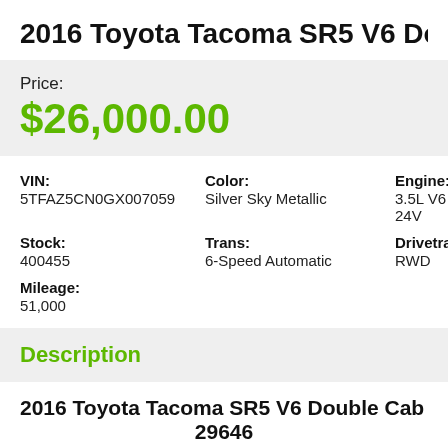2016 Toyota Tacoma SR5 V6 Double C
Price:
$26,000.00
| VIN: | Color: | Engine: |
| 5TFAZ5CN0GX007059 | Silver Sky Metallic | 3.5L V6 24V |
| Stock: | Trans: | Drivetrain: |
| 400455 | 6-Speed Automatic | RWD |
| Mileage: |  |  |
| 51,000 |  |  |
Description
2016 Toyota Tacoma SR5 V6 Double Cab fo 29646
This 2016 Toyota Tacoma SR5 is powered by a 51,000 miles on it, paired with a 6-Speed Auto